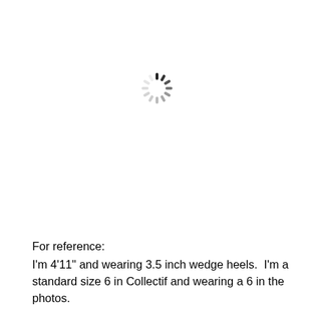[Figure (other): Loading spinner icon (circular dashed spinner animation symbol) centered in the upper portion of the page]
For reference:
I'm 4'11" and wearing 3.5 inch wedge heels.  I'm a standard size 6 in Collectif and wearing a 6 in the photos.